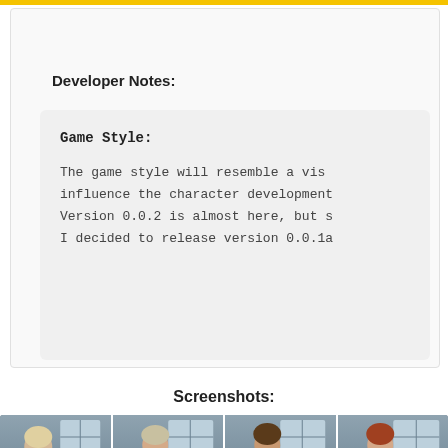Developer Notes:
Game Style:
The game style will resemble a vis
influence the character development
Version 0.0.2 is almost here, but s
I decided to release version 0.0.1a
Screenshots:
[Figure (photo): Four 3D rendered characters standing in front of a house with windows. From left to right: a blonde woman in a brown top, a young man with light hair in a beige outfit, a brunette woman in a grey top, and a young man with reddish hair.]